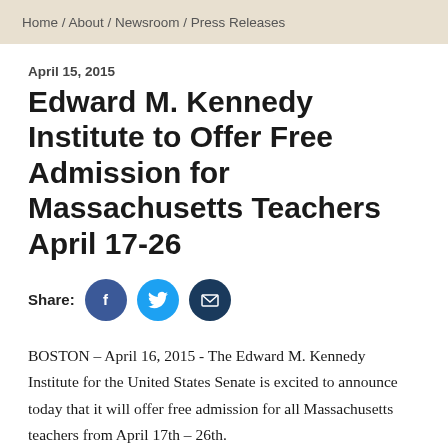Home / About / Newsroom / Press Releases
April 15, 2015
Edward M. Kennedy Institute to Offer Free Admission for Massachusetts Teachers April 17-26
[Figure (infographic): Share buttons: Facebook (blue circle with f icon), Twitter (light blue circle with bird icon), Email (dark blue circle with envelope icon)]
BOSTON – April 16, 2015 - The Edward M. Kennedy Institute for the United States Senate is excited to announce today that it will offer free admission for all Massachusetts teachers from April 17th – 26th.